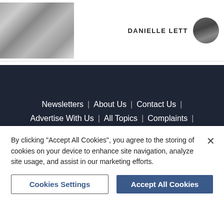[Figure (photo): Black and white photograph, appears to be a historical/wartime image of machinery or equipment]
DANIELLE LETT
[Figure (photo): Round avatar/headshot photo of a woman with dark hair]
Newsletters | About Us | Contact Us | Advertise With Us | All Topics | Complaints | Jobs at Archant | Contributors Charter | Cookie Policy | Privacy Policy | Terms & Conditions | Archant | Manage Cookies
[Figure (logo): IPSO Regulated badge/logo]
By clicking "Accept All Cookies", you agree to the storing of cookies on your device to enhance site navigation, analyze site usage, and assist in our marketing efforts.
Cookies Settings
Accept All Cookies